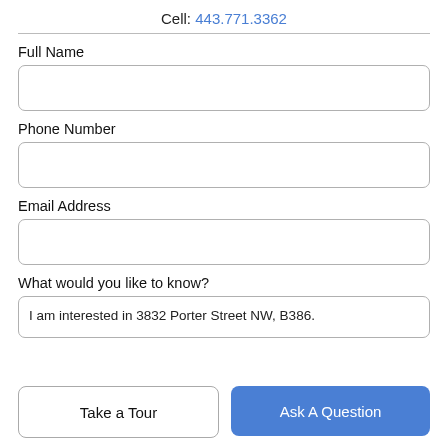Cell: 443.771.3362
Full Name
Phone Number
Email Address
What would you like to know?
I am interested in 3832 Porter Street NW, B386.
Take a Tour
Ask A Question